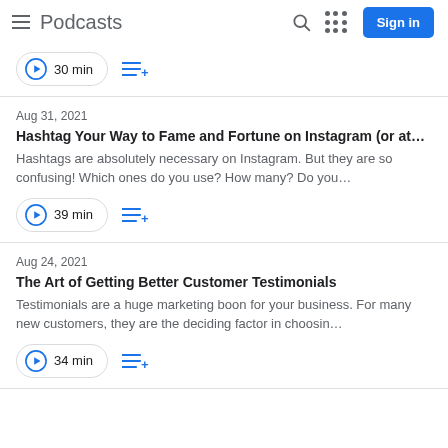Podcasts
30 min
Aug 31, 2021
Hashtag Your Way to Fame and Fortune on Instagram (or at…
Hashtags are absolutely necessary on Instagram. But they are so confusing! Which ones do you use? How many? Do you…
39 min
Aug 24, 2021
The Art of Getting Better Customer Testimonials
Testimonials are a huge marketing boon for your business. For many new customers, they are the deciding factor in choosin…
34 min